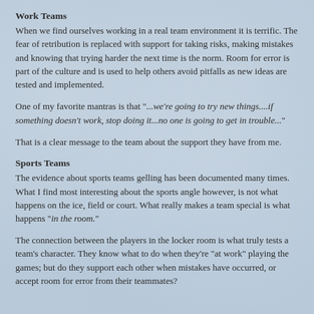Work Teams
When we find ourselves working in a real team environment it is terrific. The fear of retribution is replaced with support for taking risks, making mistakes and knowing that trying harder the next time is the norm. Room for error is part of the culture and is used to help others avoid pitfalls as new ideas are tested and implemented.
One of my favorite mantras is that "...we're going to try new things....if something doesn't work, stop doing it...no one is going to get in trouble..."
That is a clear message to the team about the support they have from me.
Sports Teams
The evidence about sports teams gelling has been documented many times. What I find most interesting about the sports angle however, is not what happens on the ice, field or court. What really makes a team special is what happens "in the room."
The connection between the players in the locker room is what truly tests a team's character. They know what to do when they're "at work" playing the games; but do they support each other when mistakes have occurred, or accept room for error from their teammates?